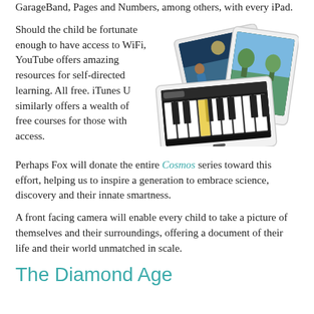GarageBand, Pages and Numbers, among others, with every iPad.
[Figure (photo): Three iPads displayed at angles showing various apps including a video editing app, GarageBand piano keyboard app, and a Numbers/charts app.]
Should the child be fortunate enough to have access to WiFi, YouTube offers amazing resources for self-directed learning. All free. iTunes U similarly offers a wealth of free courses for those with access.
Perhaps Fox will donate the entire Cosmos series toward this effort, helping us to inspire a generation to embrace science, discovery and their innate smartness.
A front facing camera will enable every child to take a picture of themselves and their surroundings, offering a document of their life and their world unmatched in scale.
The Diamond Age